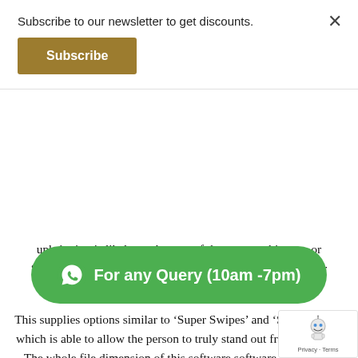Subscribe to our newsletter to get discounts.
Subscribe
upbringing is likely on the root of the more ambiguous or “it’s-simply-my-type” reasons some non-Jews have a factor for Jewish people.
This supplies options similar to ‘Super Swipes’ and ‘Swipe Notes’ which is able to allow the person to truly stand out from the gang. The whole file dimension of this software software is just over ninety two megabytes, fairly compact for the amount of features present. Unlike JSwipe, Tinder has mor… ens which embrace Spotify, Snap Chat, and Instagra… solely drawback of Tinder is that it contains very…
For any Query (10am -7pm)